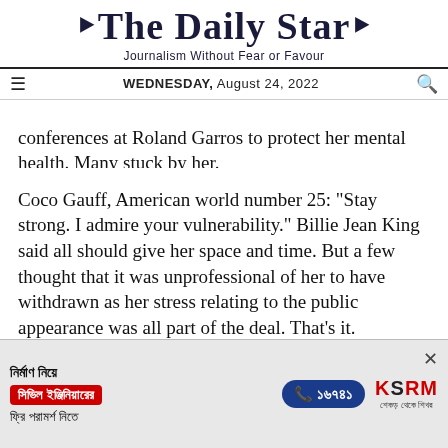The Daily Star
Journalism Without Fear or Favour
WEDNESDAY, August 24, 2022
conferences at Roland Garros to protect her mental health. Many stuck by her.
Coco Gauff, American world number 25: "Stay strong. I admire your vulnerability." Billie Jean King said all should give her space and time. But a few thought that it was unprofessional of her to have withdrawn as her stress relating to the public appearance was all part of the deal. That's it. Womanhood is a part of a deal that Eve signed
[Figure (infographic): Advertisement banner for KSRM civil engineering consultation service in Bengali. Shows Bengali text 'নির্মাণ নিয়ে', red badge 'সিভিল ইঞ্জিনিয়ারের', phone number '১৬৭৪১', KSRM logo with Bengali tagline, and free consultation offer in Bengali.]